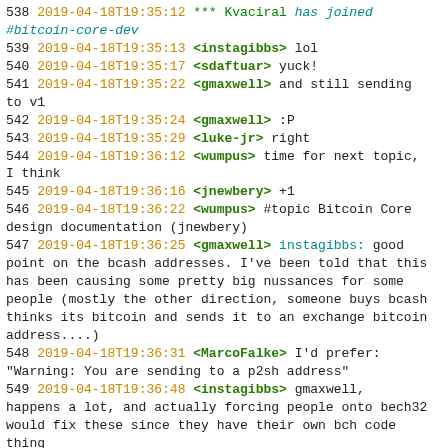538 2019-04-18T19:35:12  *** Kvaciral has joined #bitcoin-core-dev
539 2019-04-18T19:35:13  <instagibbs> lol
540 2019-04-18T19:35:17  <sdaftuar> yuck!
541 2019-04-18T19:35:22  <gmaxwell> and still sending to v1
542 2019-04-18T19:35:24  <gmaxwell> :P
543 2019-04-18T19:35:29  <luke-jr> right
544 2019-04-18T19:36:12  <wumpus> time for next topic, I think
545 2019-04-18T19:36:16  <jnewbery> +1
546 2019-04-18T19:36:22  <wumpus> #topic Bitcoin Core design documentation (jnewbery)
547 2019-04-18T19:36:25  <gmaxwell> instagibbs: good point on the bcash addresses. I've been told that this has been causing some pretty big nussances for some people (mostly the other direction, someone buys bcash thinks its bitcoin and sends it to an exchange bitcoin address....)
548 2019-04-18T19:36:31  <MarcoFalke> I'd prefer: "Warning: You are sending to a p2sh address"
549 2019-04-18T19:36:48  <instagibbs> gmaxwell, happens a lot, and actually forcing people onto bech32 would fix these since they have their own bch code thing
550 2019-04-18T19:37:04  <jnewbery> There are currently a lot of high-level design considerations that...